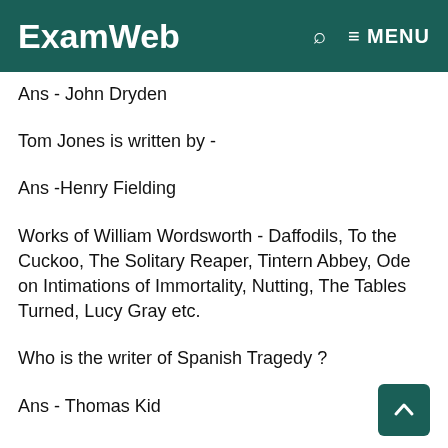ExamWeb  🔍  ≡ MENU
Ans - John Dryden
Tom Jones is written by -
Ans -Henry Fielding
Works of William Wordsworth - Daffodils, To the Cuckoo, The Solitary Reaper, Tintern Abbey, Ode on Intimations of Immortality, Nutting, The Tables Turned, Lucy Gray etc.
Who is the writer of Spanish Tragedy ?
Ans - Thomas Kid